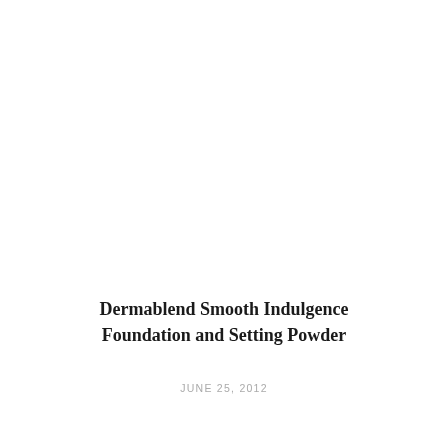Dermablend Smooth Indulgence Foundation and Setting Powder
JUNE 25, 2012